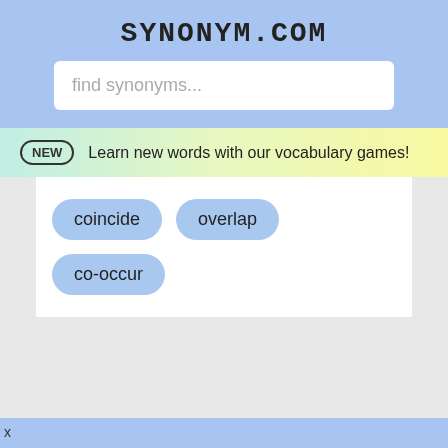SYNONYM.COM
find synonyms...
NEW  Learn new words with our vocabulary games!
coincide
overlap
co-occur
x